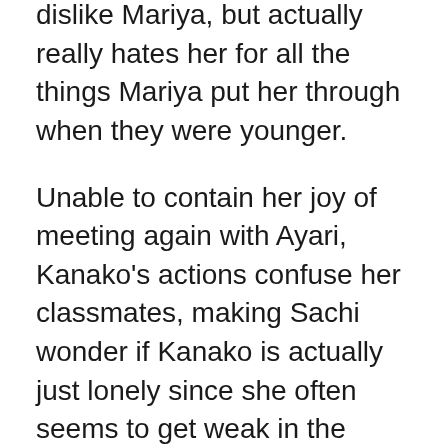dislike Mariya, but actually really hates her for all the things Mariya put her through when they were younger.
Unable to contain her joy of meeting again with Ayari, Kanako's actions confuse her classmates, making Sachi wonder if Kanako is actually just lonely since she often seems to get weak in the knees around other girls (which she does, though not for the reason Sachi believes). Worried, Sachi says she likes Kanako and will be there for her. In her own typical fashion Kanako misinterprets this and nearly elopes with Sachi, saying they'll be happy together. A full force slap to the face from Yuzuru jerks her back to reality though.
Happily trotting off to her rendezvous with Ayari, Kanako's venture into seventh heaven is brought to a sudden halt when she's struck down by a basketball that nails her right